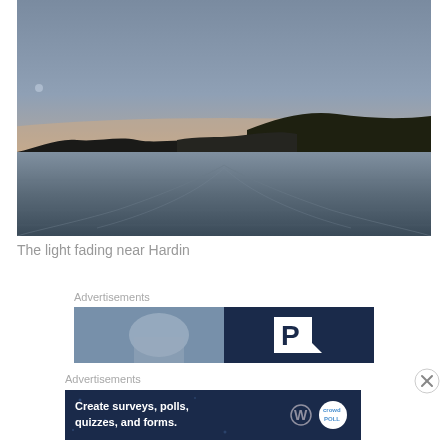[Figure (photo): A sunset or dusk landscape photo showing a river or lake with calm water reflecting dim light. Tree-covered hills visible on right and left. Wake from a boat visible in the water. Sky transitioning from pale blue at top to golden-orange near horizon.]
The light fading near Hardin
Advertisements
[Figure (other): Advertisement banner: left half shows a blurry photo of a person, right half is dark navy blue with a large white letter P with a pointed tail (Priceline or parking logo style)]
Advertisements
[Figure (other): Advertisement banner: dark navy background with white text reading 'Create surveys, polls, quizzes, and forms.' with a WordPress logo and a circular 'Crown/Poll' badge on the right]